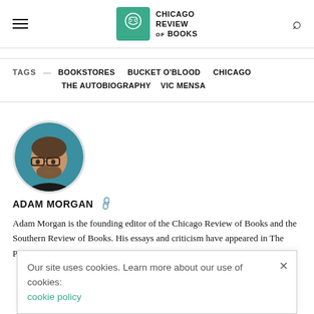Chicago Review of Books
TAGS — BOOKSTORES  BUCKET O'BLOOD  CHICAGO  THE AUTOBIOGRAPHY  VIC MENSA
[Figure (photo): Circular author headshot of Adam Morgan, a man with glasses and beard on a teal/blue background]
ADAM MORGAN
Adam Morgan is the founding editor of the Chicago Review of Books and the Southern Review of Books. His essays and criticism have appeared in The Paris Review, Longreads, Times, Chicago
Our site uses cookies. Learn more about our use of cookies: cookie policy